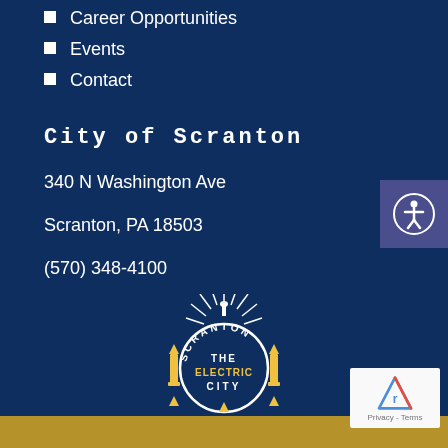Career Opportunities
Events
Contact
City of Scranton
340 N Washington Ave
Scranton, PA 18503
(570) 348-4100
[Figure (logo): Scranton The Electric City circular logo with radiating light rays and decorative lamp post finials, white on dark blue background]